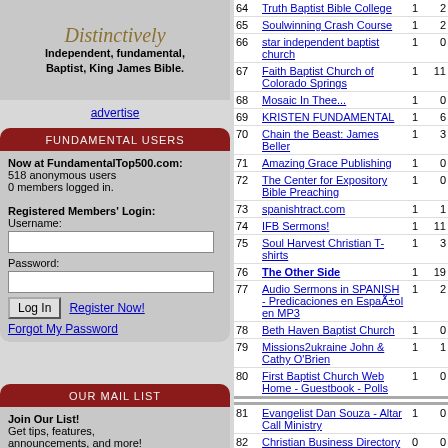[Figure (logo): Distinctively Independent, fundamental, Baptist, King James Bible. banner advertisement]
advertise
FUNDAMENTAL USERS
Now at FundamentalTop500.com:
518 anonymous users
0 members logged in.
Registered Members' Login:
Username:
Password:
OUR MAIL LIST
Join Our List!
Get tips, features, announcements, and more!
Your E-mail:
| # | Site | In | Out |
| --- | --- | --- | --- |
| 64 | Truth Baptist Bible College | 1 | 2 |
| 65 | Soulwinning Crash Course | 1 | 2 |
| 66 | star independent baptist church | 1 | 0 |
| 67 | Faith Baptist Church of Colorado Springs | 1 | 11 |
| 68 | Mosaic In Thee... | 1 | 0 |
| 69 | KRISTEN FUNDAMENTAL | 1 | 6 |
| 70 | Chain the Beast: James Beller | 1 | 3 |
| 71 | Amazing Grace Publishing | 1 | 0 |
| 72 | The Center for Expository Bible Preaching | 1 | 0 |
| 73 | spanishtract.com | 1 | 1 |
| 74 | IFB Sermons! | 1 | 11 |
| 75 | Soul Harvest Christian T-shirts | 1 | 3 |
| 76 | The Other Side | 1 | 19 |
| 77 | Audio Sermons in SPANISH - Predicaciones en EspaÃ±ol en MP3 | 1 | 2 |
| 78 | Beth Haven Baptist Church | 1 | 0 |
| 79 | Missions2ukraine John & Cathy O'Brien | 1 | 1 |
| 80 | First Baptist Church Web Home - Guestbook - Polls | 1 | 0 |
| 81 | Evangelist Dan Souza - Altar Call Ministry | 1 | 0 |
| 82 | Christian Business Directory | 0 | 0 |
| 83 | KJV DISPENSATIONAL TRUTH WORLDWIDE MINISTRIES | 0 | 0 |
| 84 | Yea, hath God said? | 0 | 0 |